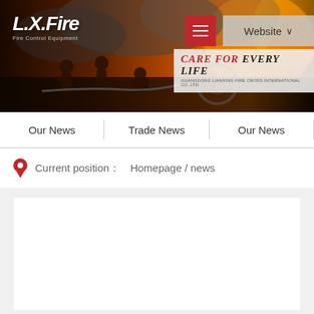[Figure (photo): Hero banner showing firefighters battling a large fire with smoke and flames, with L.X.Fire logo, hamburger menu button, Website button, and Care For Every Life branding overlay]
Our News | Trade News | Our News
Current position： Homepage / news